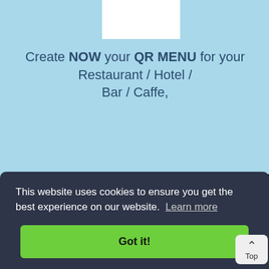Create NOW your QR MENU for your Restaurant / Hotel / Bar / Caffe,
[Figure (photo): Photo of a cocktail glass with a sprig garnish on a wooden surface, with a partial QR code card visible on the right]
This website uses cookies to ensure you get the best experience on our website. Learn more
Got it!